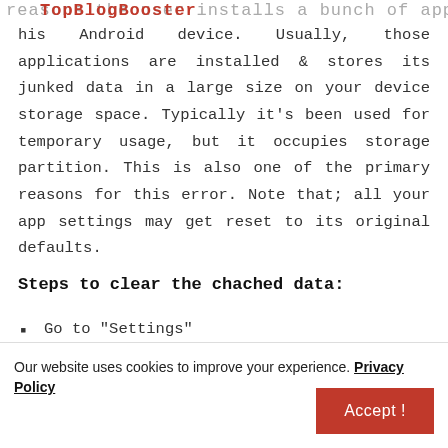TopBlogBooster (overlay on) reasons the user installs a bunch of applications on
his Android device. Usually, those applications are installed & stores its junked data in a large size on your device storage space. Typically it's been used for temporary usage, but it occupies storage partition. This is also one of the primary reasons for this error. Note that; all your app settings may get reset to its original defaults.
Steps to clear the chached data:
Go to "Settings"
Now select "Storage" and then "Cached data"
Our website uses cookies to improve your experience. Privacy Policy